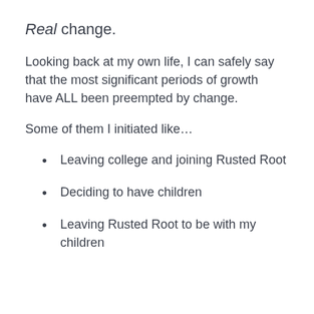Real change.
Looking back at my own life, I can safely say that the most significant periods of growth have ALL been preempted by change.
Some of them I initiated like…
Leaving college and joining Rusted Root
Deciding to have children
Leaving Rusted Root to be with my children